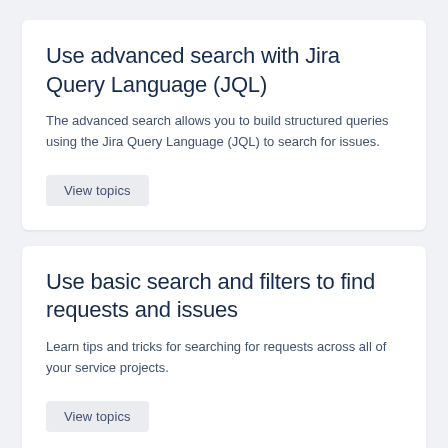Use advanced search with Jira Query Language (JQL)
The advanced search allows you to build structured queries using the Jira Query Language (JQL) to search for issues.
View topics
Use basic search and filters to find requests and issues
Learn tips and tricks for searching for requests across all of your service projects.
View topics